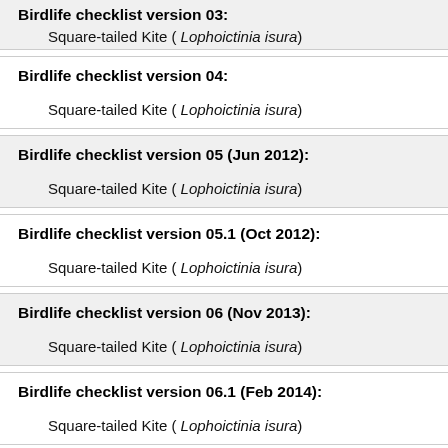Birdlife checklist version 03:
Square-tailed Kite ( Lophoictinia isura)
Birdlife checklist version 04:
Square-tailed Kite ( Lophoictinia isura)
Birdlife checklist version 05 (Jun 2012):
Square-tailed Kite ( Lophoictinia isura)
Birdlife checklist version 05.1 (Oct 2012):
Square-tailed Kite ( Lophoictinia isura)
Birdlife checklist version 06 (Nov 2013):
Square-tailed Kite ( Lophoictinia isura)
Birdlife checklist version 06.1 (Feb 2014):
Square-tailed Kite ( Lophoictinia isura)
Birdlife checklist version 07 (Jul 2014):